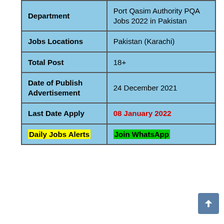| Department | Port Qasim Authority PQA Jobs 2022 in Pakistan |
| --- | --- |
| Jobs Locations | Pakistan (Karachi) |
| Total Post | 18+ |
| Date of Publish Advertisement | 24 December 2021 |
| Last Date Apply | 08 January 2022 |
| Daily Jobs Alerts | Join WhatsApp |